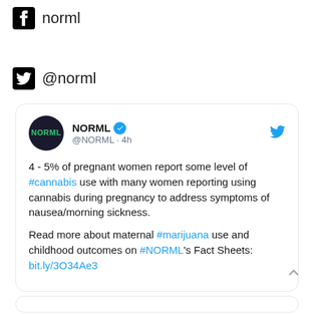norml (Facebook)
@norml (Twitter)
NORML @NORML · 4h
4 - 5% of pregnant women report some level of #cannabis use with many women reporting using cannabis during pregnancy to address symptoms of nausea/morning sickness.

Read more about maternal #marijuana use and childhood outcomes on #NORML's Fact Sheets: bit.ly/3O34Ae3